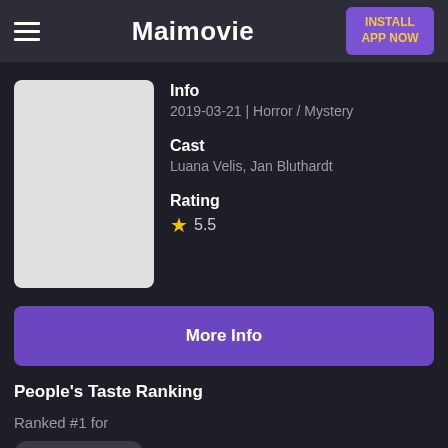Maimovie
[Figure (screenshot): Purple Install App Now button in the top right corner of the navigation bar]
[Figure (photo): Movie poster placeholder (light gray rectangle)]
Info
2019-03-21 | Horror / Mystery
Cast
Luana Velis, Jan Bluthardt
Rating
★ 5.5
More Info
People's Taste Ranking
Ranked #1 for